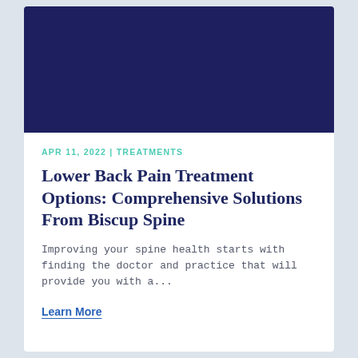[Figure (photo): Dark navy blue banner image at the top of the article card]
APR 11, 2022 | TREATMENTS
Lower Back Pain Treatment Options: Comprehensive Solutions From Biscup Spine
Improving your spine health starts with finding the doctor and practice that will provide you with a...
Learn More